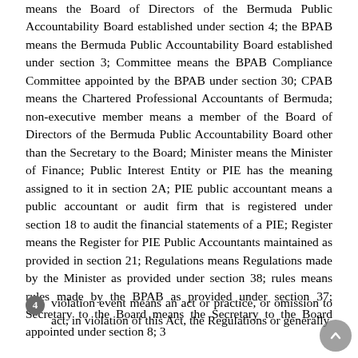means the Board of Directors of the Bermuda Public Accountability Board established under section 4; the BPAB means the Bermuda Public Accountability Board established under section 3; Committee means the BPAB Compliance Committee appointed by the BPAB under section 30; CPAB means the Chartered Professional Accountants of Bermuda; non-executive member means a member of the Board of Directors of the Bermuda Public Accountability Board other than the Secretary to the Board; Minister means the Minister of Finance; Public Interest Entity or PIE has the meaning assigned to it in section 2A; PIE public accountant means a public accountant or audit firm that is registered under section 18 to audit the financial statements of a PIE; Register means the Register for PIE Public Accountants maintained as provided in section 21; Regulations means Regulations made by the Minister as provided under section 38; rules means rules made by the BPAB as provided under section 37; Secretary to the Board means the Secretary to the Board appointed under section 8; 3
4  violation event means an act or practice, or omission to act, in violation of this Act, the Regulations or generally